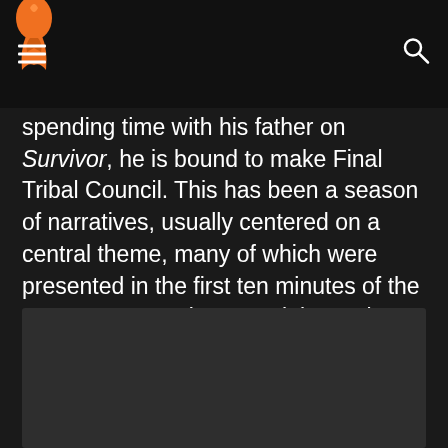[hamburger menu] [Survivor logo] [search icon]
spending time with his father on Survivor, he is bound to make Final Tribal Council. This has been a season of narratives, usually centered on a central theme, many of which were presented in the first ten minutes of the season. Joe's primary task is coming up, and I believe it to be the climax of his story-arc in Cambodia.
[Figure (photo): Dark/black image placeholder block at the bottom of the page]